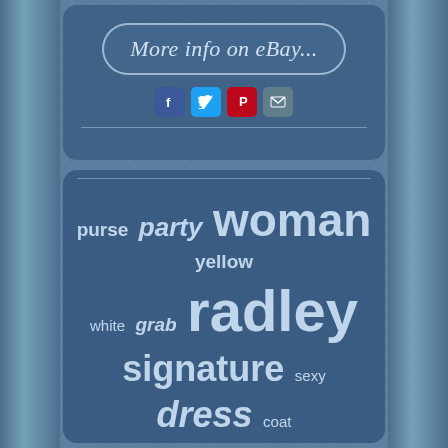[Figure (infographic): eBay 'More info on eBay...' button with rounded rectangle border in italic serif font]
[Figure (infographic): Social media share icons: Facebook (blue), Twitter (light blue), Pinterest (red), Email (grey)]
[Figure (infographic): Tag cloud / word cloud with fashion-related keywords in varying sizes on dark blue background. Words include: purse, party, woman, yellow, white, grab, radley, signature, sexy, dress, coat, diamond, mermaid, gown, ring, prom, photo, picture, silver, painting, long, girl, women's, dresses, leather, formal]